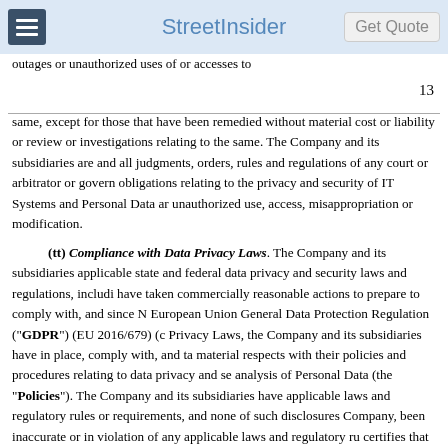StreetInsider | Get Quote
outages or unauthorized uses of or accesses to
13
same, except for those that have been remedied without material cost or liability or review or investigations relating to the same. The Company and its subsidiaries are and all judgments, orders, rules and regulations of any court or arbitrator or govern obligations relating to the privacy and security of IT Systems and Personal Data ar unauthorized use, access, misappropriation or modification.
(tt) Compliance with Data Privacy Laws. The Company and its subsidiaries applicable state and federal data privacy and security laws and regulations, includi have taken commercially reasonable actions to prepare to comply with, and since N European Union General Data Protection Regulation (“GDPR”) (EU 2016/679) (c Privacy Laws, the Company and its subsidiaries have in place, comply with, and ta material respects with their policies and procedures relating to data privacy and se analysis of Personal Data (the “Policies”). The Company and its subsidiaries have applicable laws and regulatory rules or requirements, and none of such disclosures Company, been inaccurate or in violation of any applicable laws and regulatory ru certifies that neither it nor any subsidiary: (i) has received notice of any actual or p of, any of the Privacy Laws, and has no knowledge of any event or condition that v currently conducting or paying for, in whole or in part, any investigation, remediat a party to any order, decree, or agreement that imposes any obligation or liability u